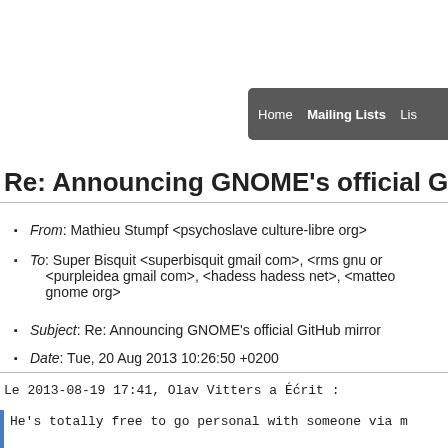Home  Mailing Lists  Lis
Re: Announcing GNOME's official GitH
From: Mathieu Stumpf <psychoslave culture-libre org>
To: Super Bisquit <superbisquit gmail com>, <rms gnu or <purpleidea gmail com>, <hadess hadess net>, <matted gnome org>
Subject: Re: Announcing GNOME's official GitHub mirror
Date: Tue, 20 Aug 2013 10:26:50 +0200
Le 2013-08-19 17:41, Olav Vitters a écrit :
He's totally free to go personal with someone via...